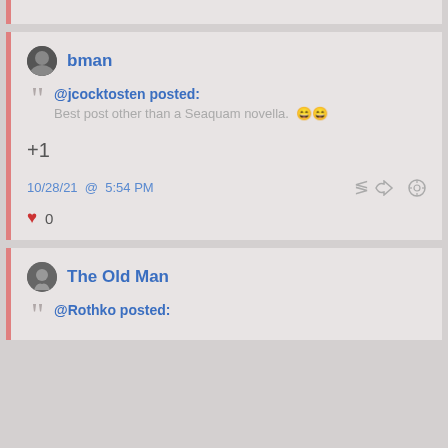(partial post card at top)
bman
@jcocktosten posted: Best post other than a Seaquam novella. 😄😄
+1
10/28/21 @ 5:54 PM
♥ 0
The Old Man
@Rothko posted: